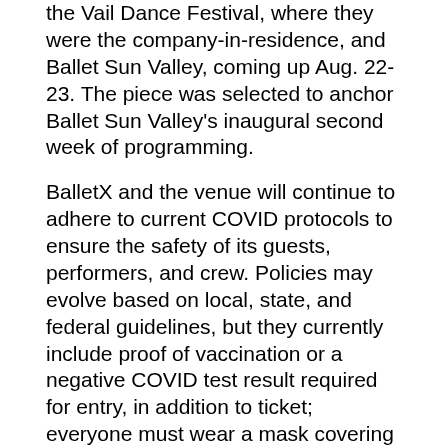the Vail Dance Festival, where they were the company-in-residence, and Ballet Sun Valley, coming up Aug. 22-23. The piece was selected to anchor Ballet Sun Valley's inaugural second week of programming.
BalletX and the venue will continue to adhere to current COVID protocols to ensure the safety of its guests, performers, and crew. Policies may evolve based on local, state, and federal guidelines, but they currently include proof of vaccination or a negative COVID test result required for entry, in addition to ticket; everyone must wear a mask covering their mouth and nose at all times while inside; no food or drink will be served during intermission; and house capacity will be limited to 70 percent. Timed entry is also being considered to help reduce crowding in common areas.
Tickets are $60-$70 and can be purchased online at BalletX.org or by calling the BX Box Office at 215-225-5280 x250. All seating will be General